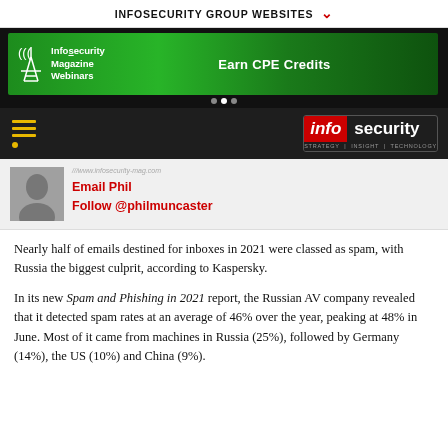INFOSECURITY GROUP WEBSITES
[Figure (illustration): Infosecurity Magazine Webinars banner advertisement — green circuit-board themed banner with antenna logo on left, text 'Infosecurity Magazine Webinars' and 'Earn CPE Credits' on right]
[Figure (logo): Infosecurity magazine logo — red 'info' block followed by white 'security' text, tagline 'STRATEGY | INSIGHT | TECHNOLOGY' below]
Email Phil
Follow @philmuncaster
Nearly half of emails destined for inboxes in 2021 were classed as spam, with Russia the biggest culprit, according to Kaspersky.
In its new Spam and Phishing in 2021 report, the Russian AV company revealed that it detected spam rates at an average of 46% over the year, peaking at 48% in June. Most of it came from machines in Russia (25%), followed by Germany (14%), the US (10%) and China (9%).